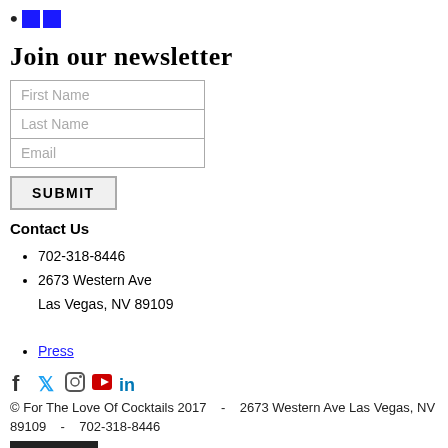[Figure (logo): Logo with dot and two blue squares]
Join our newsletter
First Name
Last Name
Email
SUBMIT
Contact Us
702-318-8446
2673 Western Ave Las Vegas, NV 89109
Press
[Figure (infographic): Social media icons: Facebook, Twitter, Instagram, YouTube, LinkedIn]
© For The Love Of Cocktails 2017    -    2673 Western Ave Las Vegas, NV 89109    -    702-318-8446
[Figure (logo): For The Love of Cocktails logo with star]